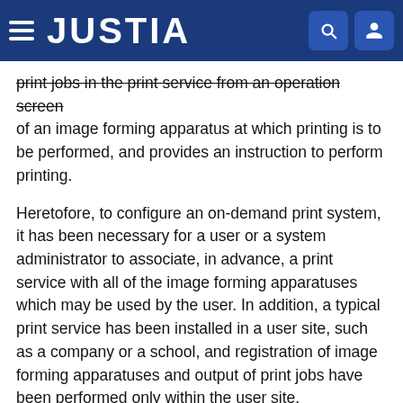JUSTIA
print jobs in the print service from an operation screen of an image forming apparatus at which printing is to be performed, and provides an instruction to perform printing.
Heretofore, to configure an on-demand print system, it has been necessary for a user or a system administrator to associate, in advance, a print service with all of the image forming apparatuses which may be used by the user. In addition, a typical print service has been installed in a user site, such as a company or a school, and registration of image forming apparatuses and output of print jobs have been performed only within the user site.
On the other hand, like Google Cloud Print which Google Inc. has been developing, a print service available on the Internet (hereinafter, referred to as a “cloud print